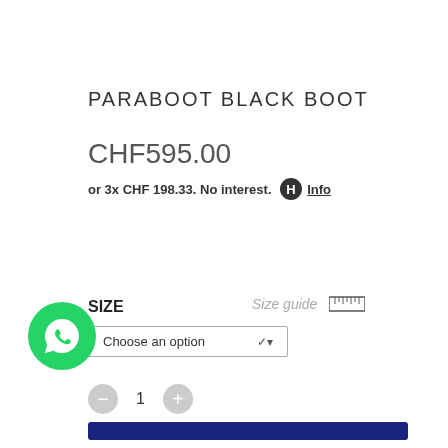PARABOOT BLACK BOOT
CHF595.00
or 3x CHF 198.33. No interest. Info
SIZE
Size guide
Choose an option
1